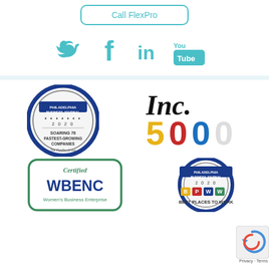[Figure (other): Call FlexPro button with teal border]
[Figure (other): Social media icons: Twitter, Facebook, LinkedIn, YouTube in teal]
[Figure (other): Philadelphia Business Journal 2020 Soaring 76 Fastest-Growing Companies badge for The FlexPro Group]
[Figure (other): Inc. 5000 logo]
[Figure (other): Certified WBENC Women's Business Enterprise badge]
[Figure (other): Philadelphia Business Journal 2020 Best Places to Work badge]